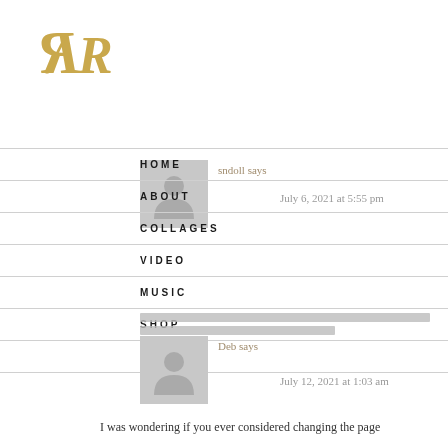[Figure (logo): Stylized logo with mirrored R, slash, and R in gold]
HOME
ABOUT
COLLAGES
VIDEO
MUSIC
SHOP
CONTACT
sndoll says
July 6, 2021 at 5:55 pm
Deb says
July 12, 2021 at 1:03 am
I was wondering if you ever considered changing the page